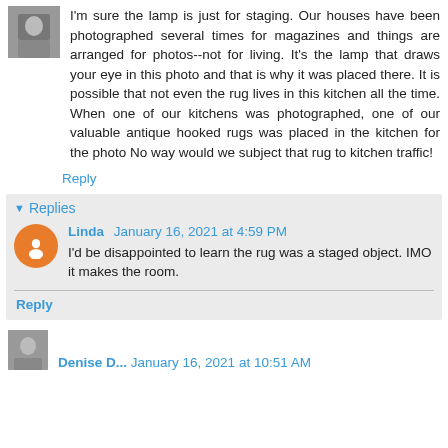I'm sure the lamp is just for staging. Our houses have been photographed several times for magazines and things are arranged for photos--not for living. It's the lamp that draws your eye in this photo and that is why it was placed there. It is possible that not even the rug lives in this kitchen all the time. When one of our kitchens was photographed, one of our valuable antique hooked rugs was placed in the kitchen for the photo No way would we subject that rug to kitchen traffic!
Reply
Replies
Linda January 16, 2021 at 4:59 PM
I'd be disappointed to learn the rug was a staged object. IMO it makes the room.
Reply
Denise D... January 16, 2021 at 10:51 AM